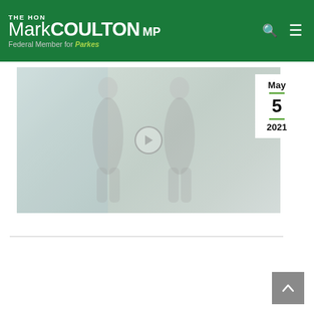THE HON Mark COULTON MP – Federal Member for Parkes
[Figure (photo): Faded/light photo of two people standing outdoors, with a play button overlay circle in the center]
May
5
2021